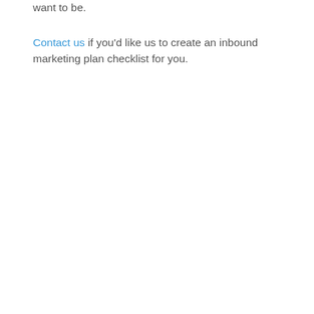want to be.
Contact us if you'd like us to create an inbound marketing plan checklist for you.